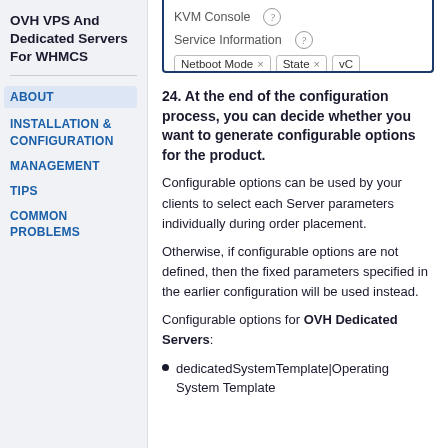OVH VPS And Dedicated Servers For WHMCS
ABOUT
INSTALLATION & CONFIGURATION
MANAGEMENT
TIPS
COMMON PROBLEMS
[Figure (screenshot): Screenshot showing KVM Console and Service Information sections with tags: Netboot Mode x, State x, vC...]
24. At the end of the configuration process, you can decide whether you want to generate configurable options for the product.
Configurable options can be used by your clients to select each Server parameters individually during order placement.
Otherwise, if configurable options are not defined, then the fixed parameters specified in the earlier configuration will be used instead.
Configurable options for OVH Dedicated Servers:
dedicatedSystemTemplate|Operating System Template